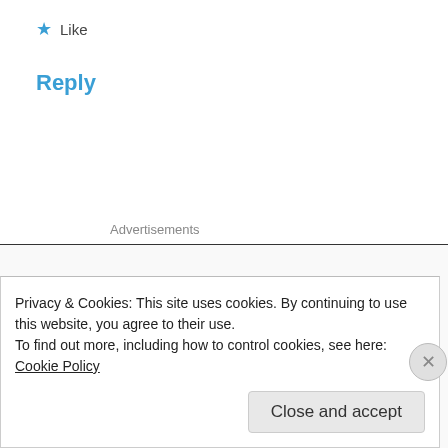★ Like
Reply
Advertisements
27 Aug 2013 at 3:56
Privacy & Cookies: This site uses cookies. By continuing to use this website, you agree to their use.
To find out more, including how to control cookies, see here: Cookie Policy
Close and accept